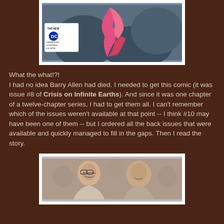[Figure (illustration): Comic book cover or panel showing a figure in pink/red against a dark background, with a DC Comics logo and text 'THE NEW DC THERE'S NO STOPPING US NOW.' on a white badge]
What the what!?! I had no idea Barry Allen had died. I needed to get this comic (it was issue #8 of Crisis on Infinite Earths). And since it was one chapter of a twelve-chapter series, I had to get them all. I can't remember which of the issues weren't available at that point -- I think #10 may have been one of them -- but I ordered all the back issues that were available and quickly managed to fill in the gaps. Then I read the story.
[Figure (photo): Black and white photograph of two men smiling, taken at what appears to be a social event or convention]